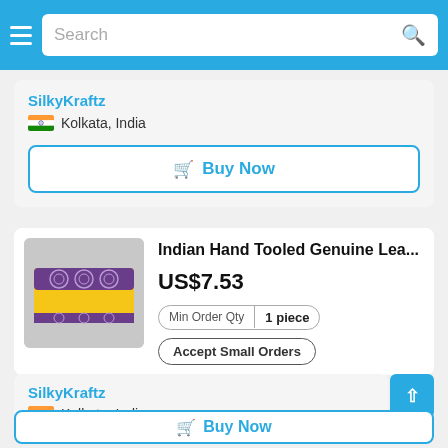Search
SilkyKraftz
Kolkata, India
Buy Now
Indian Hand Tooled Genuine Lea...
US$7.53
Min Order Qty  1 piece
Accept Small Orders
SilkyKraftz
Kolkata, India
Buy Now